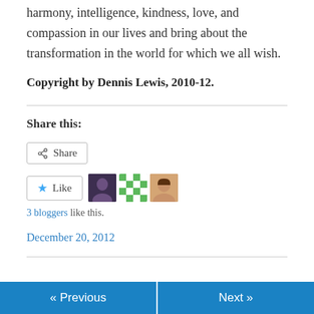harmony, intelligence, kindness, love, and compassion in our lives and bring about the transformation in the world for which we all wish.
Copyright by Dennis Lewis, 2010-12.
Share this:
[Figure (screenshot): Share button with share icon]
[Figure (screenshot): Like button with star icon and 3 blogger avatars]
3 bloggers like this.
December 20, 2012
« Previous   Next »